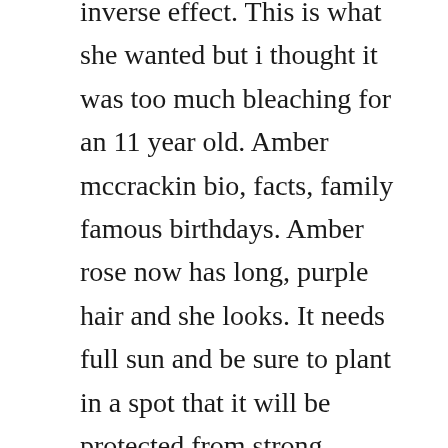inverse effect. This is what she wanted but i thought it was too much bleaching for an 11 year old. Amber mccrackin bio, facts, family famous birthdays. Amber rose now has long, purple hair and she looks. It needs full sun and be sure to plant in a spot that it will be protected from strong, drying winds.
I ruined my hair trying to get a lilaclavender color. Model and author amber rose who famously rocks a buzzed head debuted a waistgrazing, pastel lilac wig during a recent night out in west hollywood. Directions lilac